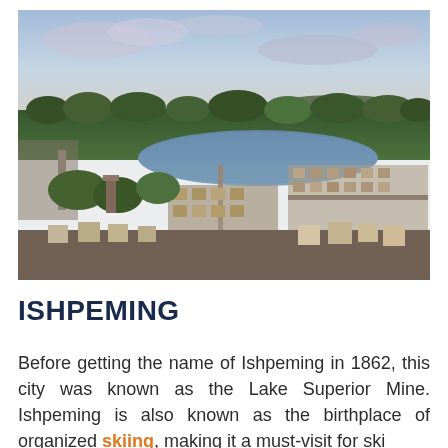[Figure (photo): Aerial drone photograph of Ishpeming, Michigan showing a small lakeside town with residential neighborhoods, a lake in the middle distance, forested surroundings, roads, and a partly cloudy sky at dusk or dawn.]
ISHPEMING
Before getting the name of Ishpeming in 1862, this city was known as the Lake Superior Mine. Ishpeming is also known as the birthplace of organized skiing, making it a must-visit for ski